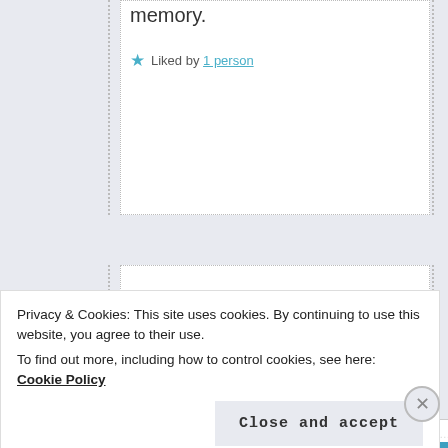memory.
★ Liked by 1 person
Laleh Chini
November 20, 2017 · 1:27 pm
[Figure (photo): Black and white circular avatar photo of Laleh Chini]
Privacy & Cookies: This site uses cookies. By continuing to use this website, you agree to their use.
To find out more, including how to control cookies, see here: Cookie Policy
Close and accept
Advertisements....